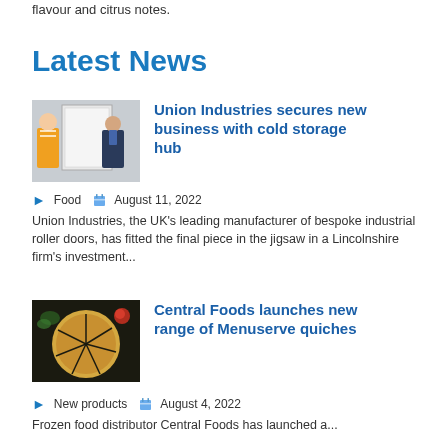flavour and citrus notes.
Latest News
[Figure (photo): Two people standing in front of a large industrial roller door in a cold storage facility]
Union Industries secures new business with cold storage hub
Food   August 11, 2022
Union Industries, the UK's leading manufacturer of bespoke industrial roller doors, has fitted the final piece in the jigsaw in a Lincolnshire firm's investment...
[Figure (photo): A round quiche cut into slices surrounded by food ingredients on a dark surface]
Central Foods launches new range of Menuserve quiches
New products   August 4, 2022
Frozen food distributor Central Foods has launched a...